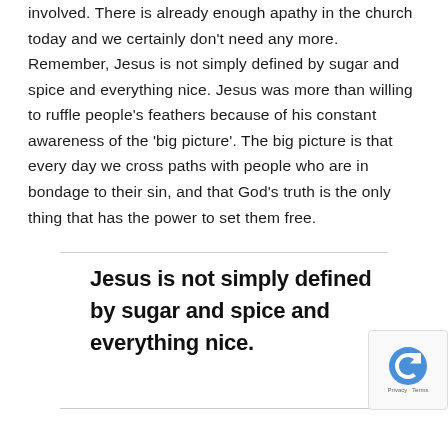involved. There is already enough apathy in the church today and we certainly don't need any more. Remember, Jesus is not simply defined by sugar and spice and everything nice. Jesus was more than willing to ruffle people's feathers because of his constant awareness of the 'big picture'. The big picture is that every day we cross paths with people who are in bondage to their sin, and that God's truth is the only thing that has the power to set them free.
Jesus is not simply defined by sugar and spice and everything nice.